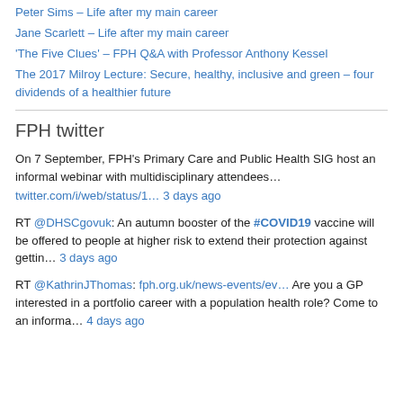Peter Sims – Life after my main career
Jane Scarlett – Life after my main career
'The Five Clues' – FPH Q&A with Professor Anthony Kessel
The 2017 Milroy Lecture: Secure, healthy, inclusive and green – four dividends of a healthier future
FPH twitter
On 7 September, FPH's Primary Care and Public Health SIG host an informal webinar with multidisciplinary attendees… twitter.com/i/web/status/1… 3 days ago
RT @DHSCgovuk: An autumn booster of the #COVID19 vaccine will be offered to people at higher risk to extend their protection against gettin… 3 days ago
RT @KathrinJThomas: fph.org.uk/news-events/ev… Are you a GP interested in a portfolio career with a population health role? Come to an informa… 4 days ago